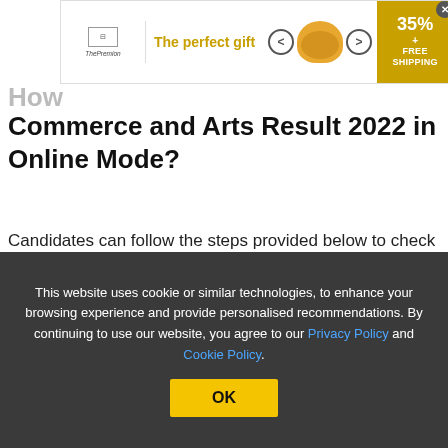[Figure (screenshot): Advertisement banner showing 'The perfect gift' with a bowl image and 35% + FREE SHIPPING promotional offer with a close button]
How
Commerce and Arts Result 2022 in Online Mode?
Candidates can follow the steps provided below to check the Odisha CHSE Commerce and Arts results 2022.
Step 1st: Visit the Odisha Board official website
Step 2nd: Click on the Odisha Class 12 Commerce and
This website uses cookie or similar technologies, to enhance your browsing experience and provide personalised recommendations. By continuing to use our website, you agree to our Privacy Policy and Cookie Policy.